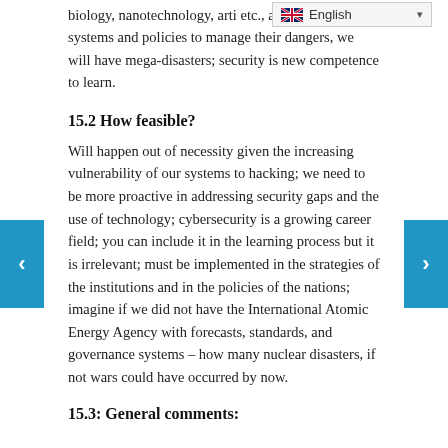biology, nanotechnology, arti etc., and adjust our systems and policies to manage their dangers, we will have mega-disasters; security is new competence to learn.
15.2 How feasible?
Will happen out of necessity given the increasing vulnerability of our systems to hacking; we need to be more proactive in addressing security gaps and the use of technology; cybersecurity is a growing career field; you can include it in the learning process but it is irrelevant; must be implemented in the strategies of the institutions and in the policies of the nations; imagine if we did not have the International Atomic Energy Agency with forecasts, standards, and governance systems – how many nuclear disasters, if not wars could have occurred by now.
15.3: General comments: